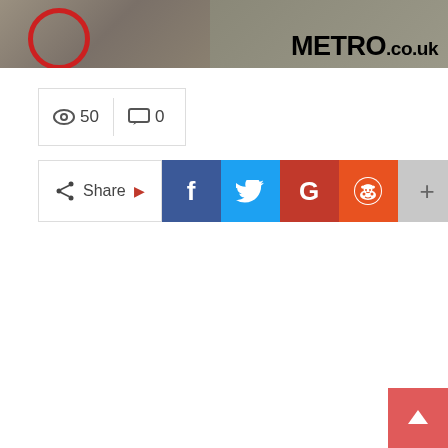[Figure (screenshot): Top portion of Metro.co.uk news article page. Left side shows a partial photo with a red circle overlay. Right side shows partial photo of people with METRO.co.uk logo in black bold text on grey background.]
50  0
Share
[Figure (infographic): Social share buttons row: Facebook (blue, f), Twitter (light blue, bird), Google+ (red, G), Reddit (orange, alien), and a grey plus/more button.]
[Figure (other): Pink/salmon back-to-top arrow button in bottom right corner.]